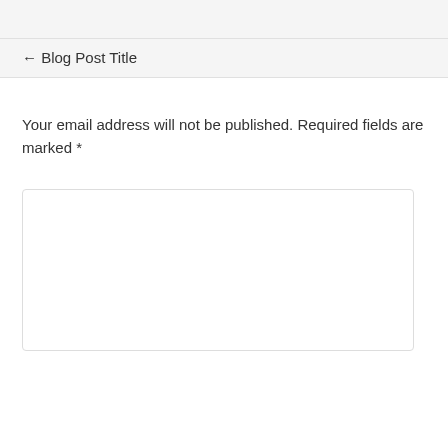← Blog Post Title
Your email address will not be published. Required fields are marked *
[Figure (other): Empty comment text area input box with rounded border]